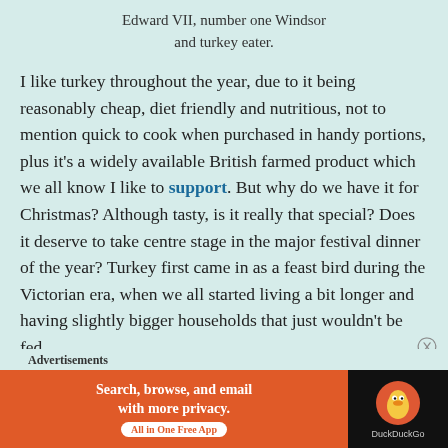Edward VII, number one Windsor and turkey eater.
I like turkey throughout the year, due to it being reasonably cheap, diet friendly and nutritious, not to mention quick to cook when purchased in handy portions, plus it's a widely available British farmed product which we all know I like to support. But why do we have it for Christmas? Although tasty, is it really that special? Does it deserve to take centre stage in the major festival dinner of the year? Turkey first came in as a feast bird during the Victorian era, when we all started living a bit longer and having slightly bigger households that just wouldn't be fed
Advertisements
[Figure (screenshot): DuckDuckGo advertisement banner: orange background on left with text 'Search, browse, and email with more privacy. All in One Free App' and DuckDuckGo logo on black background on the right.]